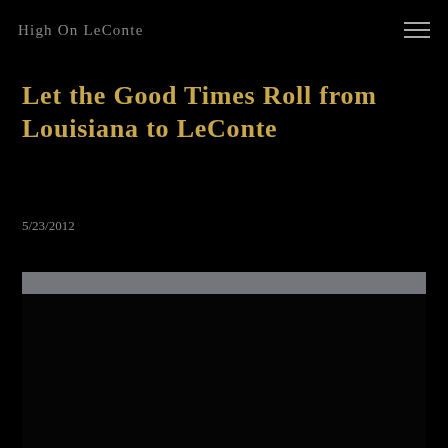High On LeConte
Let the Good Times Roll from Louisiana to LeConte
5/23/2012
[Figure (photo): A dark photograph with a gray/silver horizontal bar near the top, and mostly black content below, appearing to be a partially loaded or very dark outdoor/nature photograph.]